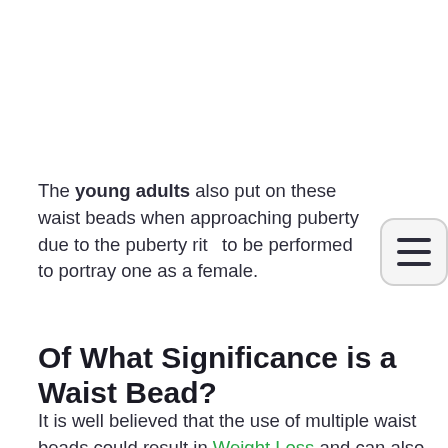The young adults also put on these waist beads when approaching puberty due to the puberty rit... to be performed to portray one as a female.
Of What Significance is a Waist Bead?
It is well believed that the use of multiple waist beads could result in Weight Loss and can also be used to control the weight of a person. Waist bead...